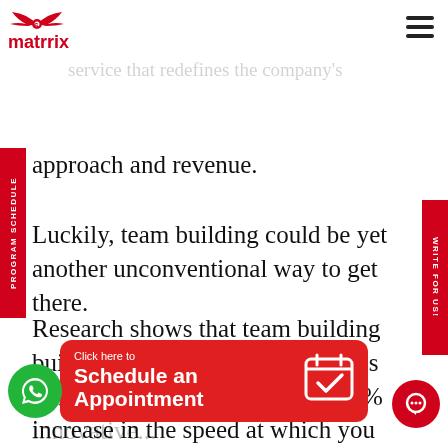matrrix
So there's always a burning desire to improve and launch a new product or service that redefines the company's approach and revenue.
Luckily, team building could be yet another unconventional way to get there.
Research shows that team building builds up work ethic and improves innovation by 10x. That's a 1000% increase in the speed at which you would have customarily approached innovation, helping to ensure that the outcomes of these innovative...